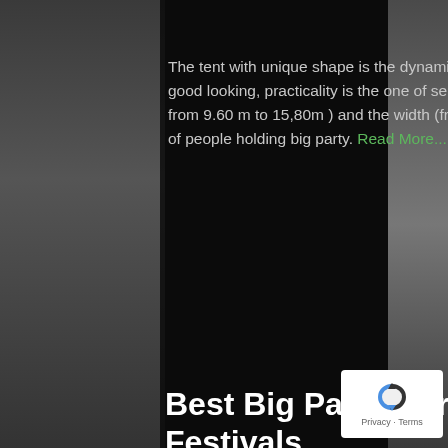The tent with unique shape is the dynamic eye-catching tent. In addition to its good looking, practicality is the one of selling points. With the ridge height (range from 9.60 m to 15,80m ) and the width (from 18m to 50m), the tent allows a crowd of people holding big party. Read More...
Best Big Party Marquee Buying for Festivals
October 18, 2014
[Figure (photo): Photo of a festival marquee tent exterior with green and white signage against blue sky]
No Comments